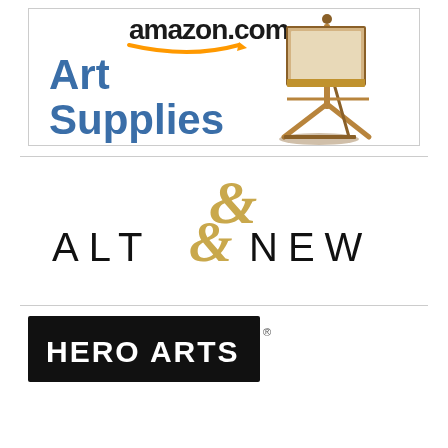[Figure (logo): Amazon.com Art Supplies advertisement banner with blue 'Art Supplies' text and a wooden artist easel on the right side, Amazon logo at top]
[Figure (logo): Altenew brand logo in large spaced black capital letters with a decorative gold ampersand symbol replacing the 'E']
[Figure (logo): Hero Arts logo in bold white capital letters on a black rectangular background, with small registered trademark symbol]